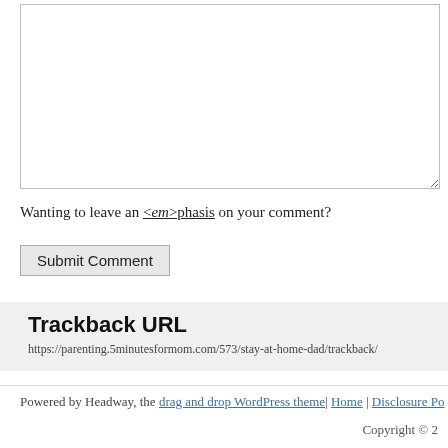Wanting to leave an <em>phasis on your comment?
Submit Comment
Trackback URL
https://parenting.5minutesformom.com/573/stay-at-home-dad/trackback/
Powered by Headway, the drag and drop WordPress theme| Home | Disclosure Po
Copyright © 2